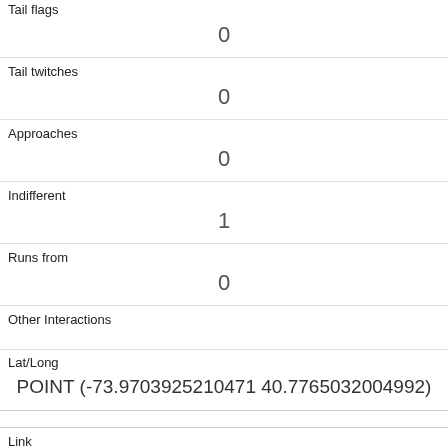| Tail flags | 0 |
| Tail twitches | 0 |
| Approaches | 0 |
| Indifferent | 1 |
| Runs from | 0 |
| Other Interactions |  |
| Lat/Long | POINT (-73.9703925210471 40.7765032004992) |
| Link | 23 |
| rowid | 23 |
| longitude | -73.9638179439747 |